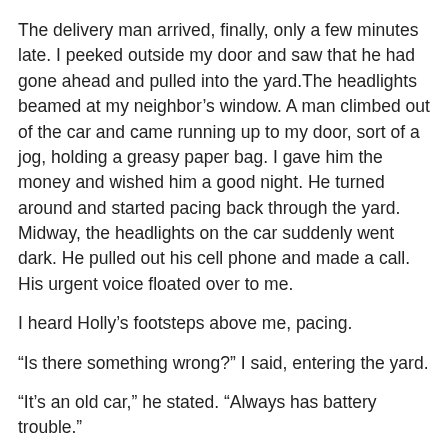The delivery man arrived, finally, only a few minutes late. I peeked outside my door and saw that he had gone ahead and pulled into the yard.The headlights beamed at my neighbor's window. A man climbed out of the car and came running up to my door, sort of a jog, holding a greasy paper bag. I gave him the money and wished him a good night. He turned around and started pacing back through the yard. Midway, the headlights on the car suddenly went dark. He pulled out his cell phone and made a call. His urgent voice floated over to me.
I heard Holly's footsteps above me, pacing.
“Is there something wrong?” I said, entering the yard.
“It’s an old car,” he stated. “Always has battery trouble.”
The car was parked diagonally across the yard, its tires sunk into the mud.
“Are you calling a tow?”